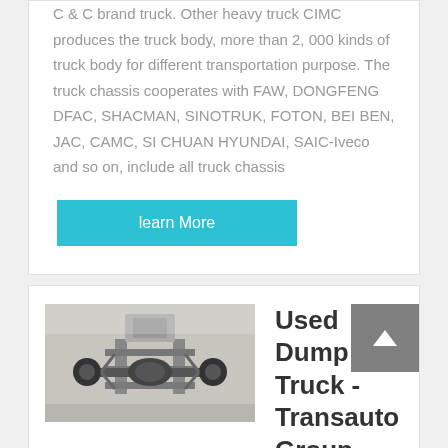C & C brand truck. Other heavy truck CIMC produces the truck body, more than 2, 000 kinds of truck body for different transportation purpose. The truck chassis cooperates with FAW, DONGFENG DFAC, SHACMAN, SINOTRUK, FOTON, BEI BEN, JAC, CAMC, SI CHUAN HYUNDAI, SAIC-Iveco and so on, include all truck chassis
learn More
[Figure (photo): Undercarriage / underside of a truck or heavy vehicle, viewed from below showing axles and chassis components]
Used Dump Truck - Transauto Group